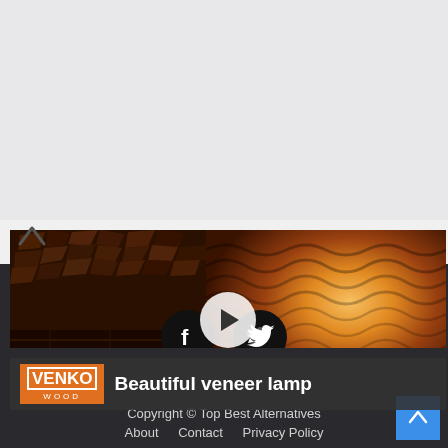[Figure (screenshot): Video thumbnail for 'Beautiful veneer lamp' by VENKO WOOD. Left side shows dark wooden mosaic wall with brick background. Center has a white play button circle. Right side shows a glowing wavy veneer lamp shade in warm orange tones. Bottom bar has VENKO WOOD logo and title text.]
Beautiful veneer lamp
[Figure (logo): VENKO WOOD logo in orange box]
Copyright © Top Best Alternatives
About   Contact   Privacy Policy